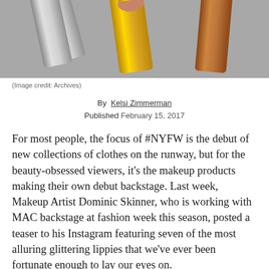[Figure (photo): Close-up photo of makeup lipstick/lip pencil products in silver, gold, and copper/bronze metallic colors against a gray background]
(Image credit: Archives)
By Kelsi Zimmerman
Published February 15, 2017
For most people, the focus of #NYFW is the debut of new collections of clothes on the runway, but for the beauty-obsessed viewers, it's the makeup products making their own debut backstage. Last week, Makeup Artist Dominic Skinner, who is working with MAC backstage at fashion week this season, posted a teaser to his Instagram featuring seven of the most alluring glittering lippies that we've ever been fortunate enough to lay our eyes on.